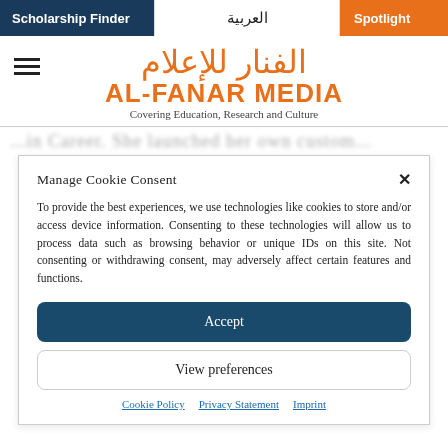Scholarship Finder | العربية | Spotlight
AL-FANAR MEDIA — Covering Education, Research and Culture
...in Career. She launched her own custom...
Manage Cookie Consent
To provide the best experiences, we use technologies like cookies to store and/or access device information. Consenting to these technologies will allow us to process data such as browsing behavior or unique IDs on this site. Not consenting or withdrawing consent, may adversely affect certain features and functions.
Accept
View preferences
Cookie Policy | Privacy Statement | Imprint